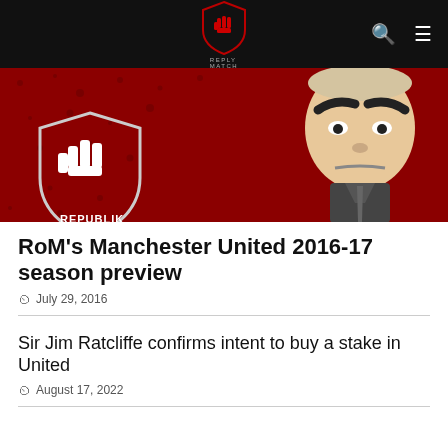Republic of Mancunia navigation bar with logo, search and menu icons
[Figure (illustration): Stylised illustration banner with red textured background and a cartoon caricature of a stern-looking man in a suit on the right, and a fist shield logo with text REPUBLIK on the lower left]
RoM’s Manchester United 2016-17 season preview
July 29, 2016
Sir Jim Ratcliffe confirms intent to buy a stake in United
August 17, 2022